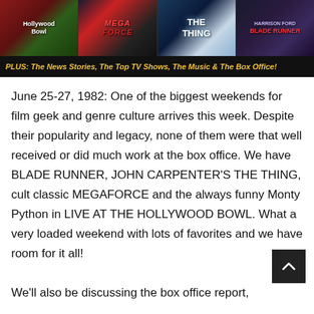[Figure (illustration): Banner image showing four movie posters side by side (Hollywood Bowl, Megaforce, The Thing, Blade Runner) with a black bar below reading: PLUS: The News Stories, The Top TV Shows, The Music & The Box Office!]
June 25-27, 1982: One of the biggest weekends for film geek and genre culture arrives this week. Despite their popularity and legacy, none of them were that well received or did much work at the box office. We have BLADE RUNNER, JOHN CARPENTER'S THE THING, cult classic MEGAFORCE and the always funny Monty Python in LIVE AT THE HOLLYWOOD BOWL. What a very loaded weekend with lots of favorites and we have room for it all!
We'll also be discussing the box office report,